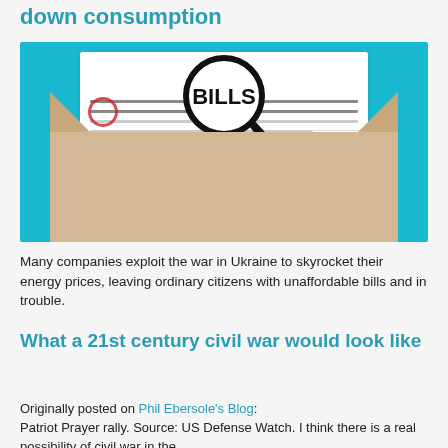down consumption
[Figure (illustration): Illustration of a hand holding a magnifying glass over a document labelled BILLS, emerging from an open envelope, with numbers 1200.58. $, 3259.44. $, 782.3 visible on the document. Cyan/teal background.]
Many companies exploit the war in Ukraine to skyrocket their energy prices, leaving ordinary citizens with unaffordable bills and in trouble.
What a 21st century civil war would look like
Originally posted on Phil Ebersole's Blog: Patriot Prayer rally. Source: US Defense Watch. I think there is a real possibility of civil war in the